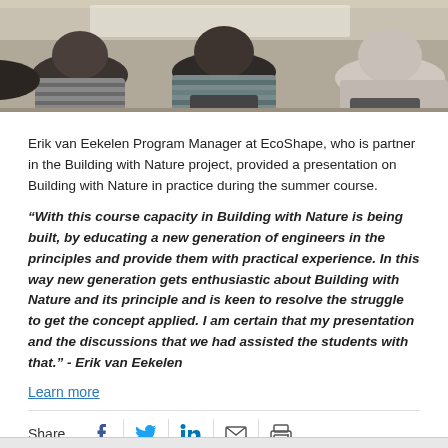[Figure (photo): Classroom photo showing the backs of students' heads seated in a seminar or lecture setting, viewed from behind.]
Erik van Eekelen Program Manager at EcoShape, who is partner in the Building with Nature project, provided a presentation on Building with Nature in practice during the summer course.
“With this course capacity in Building with Nature is being built, by educating a new generation of engineers in the principles and provide them with practical experience. In this way new generation gets enthusiastic about Building with Nature and its principle and is keen to resolve the struggle to get the concept applied. I am certain that my presentation and the discussions that we had assisted the students with that.” - Erik van Eekelen
Learn more
Share